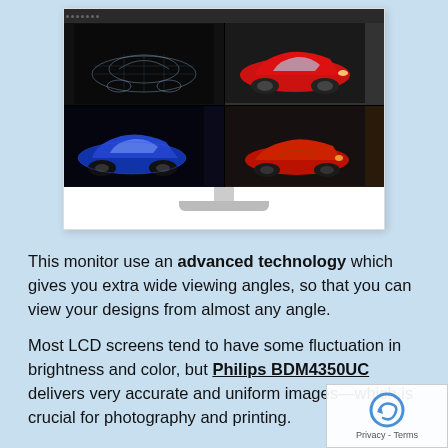[Figure (screenshot): Philips BDM4350UC monitor displaying a 3D car modeling software with four quadrants: top-left shows a wireframe 3D car, top-right shows a red sports car rendered, bottom-left shows a blue sports car rendered, bottom-right shows a red convertible sports car.]
This monitor use an advanced technology which gives you extra wide viewing angles, so that you can view your designs from almost any angle.
Most LCD screens tend to have some fluctuation in brightness and color, but Philips BDM4350UC delivers very accurate and uniform images—which is crucial for photography and printing.